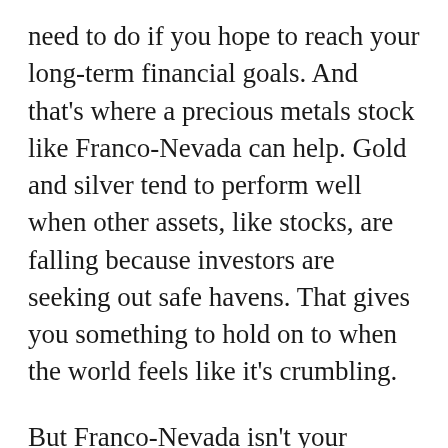need to do if you hope to reach your long-term financial goals. And that's where a precious metals stock like Franco-Nevada can help. Gold and silver tend to perform well when other assets, like stocks, are falling because investors are seeking out safe havens. That gives you something to hold on to when the world feels like it's crumbling.
But Franco-Nevada isn't your typical precious metals company because it isn't a miner — it's a streaming and royalty company. That means it provides cash up front to miners for the right to buy gold and silver at reduced rates in